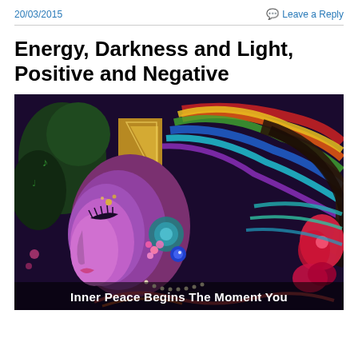20/03/2015    💬 Leave a Reply
Energy, Darkness and Light, Positive and Negative
[Figure (illustration): Colorful psychedelic illustration of a woman's profile with flowing rainbow hair, floral and nature elements, and cosmic imagery. Bold white text overlay at the bottom reads 'Inner Peace Begins The Moment You']